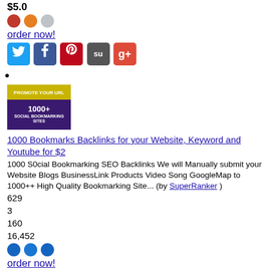$5.0
[Figure (infographic): Three colored dots: red/orange, orange, gray]
order now!
[Figure (infographic): Social share icons: Twitter, Facebook, Pinterest, StumbleUpon, Google+]
bullet point
[Figure (photo): Promote Your URL 1000+ Social Bookmarking Sites banner image with YouTube logo]
1000 Bookmarks Backlinks for your Website, Keyword and Youtube for $2
1000 S0cial Bookmarking SEO Backlinks We will Manually submit your Website Blogs BusinessLink Products Video Song GoogleMap to 1000++ High Quality Bookmarking Site... (by SuperRanker )
629
3
160
16,452
[Figure (infographic): Three blue colored dots]
order now!
[Figure (infographic): Social share icons: Twitter, Facebook, Pinterest, StumbleUpon, Google+]
bullet point
[Figure (photo): 20000 Website Traffic banner image with bar chart graphic on red background]